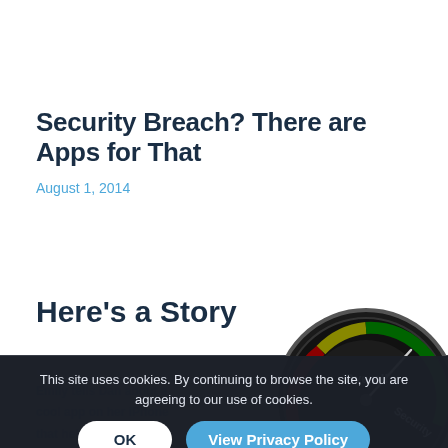Security Breach? There are Apps for That
August 1, 2014
Here's a Story
[Figure (other): A circular gauge/meter dial showing Overall and Security labels with a needle indicator, dark themed with green and red zones]
...
Emily tells Dan about a cool app on her iPhone that helps her stay organized when she is out
This site uses cookies. By continuing to browse the site, you are agreeing to our use of cookies.
OK
View Privacy Policy